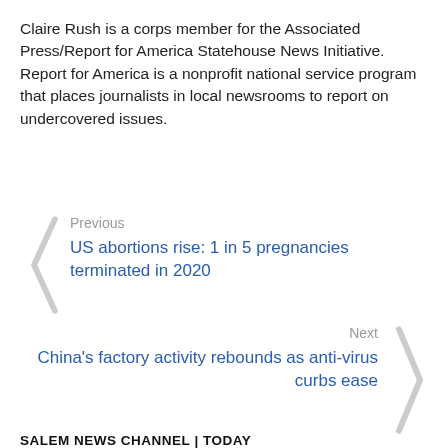Claire Rush is a corps member for the Associated Press/Report for America Statehouse News Initiative. Report for America is a nonprofit national service program that places journalists in local newsrooms to report on undercovered issues.
Previous
US abortions rise: 1 in 5 pregnancies terminated in 2020
Next
China's factory activity rebounds as anti-virus curbs ease
SALEM NEWS CHANNEL | TODAY